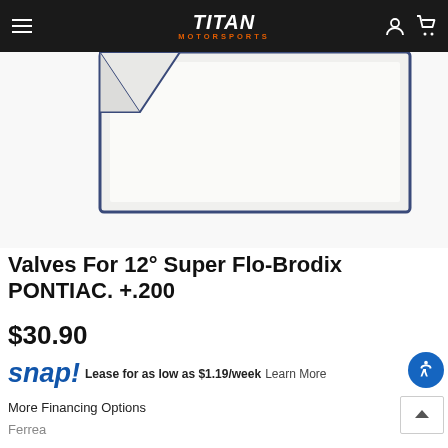MOTORSPORTS
[Figure (photo): Partial product image showing white box/packaging with blue border on white background]
Valves For 12° Super Flo-Brodix PONTIAC. +.200
$30.90
snap! Lease for as low as $1.19/week Learn More
More Financing Options
Ferrea